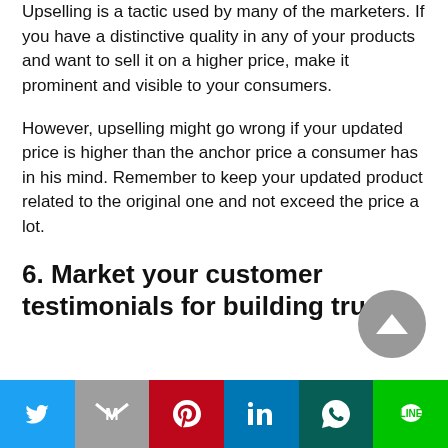Upselling is a tactic used by many of the marketers. If you have a distinctive quality in any of your products and want to sell it on a higher price, make it prominent and visible to your consumers.
However, upselling might go wrong if your updated price is higher than the anchor price a consumer has in his mind. Remember to keep your updated product related to the original one and not exceed the price a lot.
6. Market your customer testimonials for building trust: